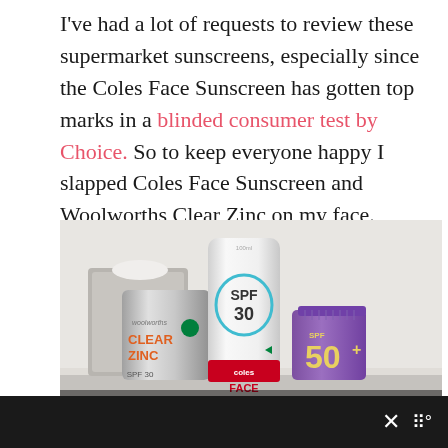I've had a lot of requests to review these supermarket sunscreens, especially since the Coles Face Sunscreen has gotten top marks in a blinded consumer test by Choice. So to keep everyone happy I slapped Coles Face Sunscreen and Woolworths Clear Zinc on my face.
[Figure (photo): Three sunscreen products displayed on a shelf: Woolworths Clear Zinc SPF 30 (silver tube, left), Coles Face Sunscreen SPF 30 (white tube, center), and a purple SPF 50+ sunscreen (right). A box of tissues is visible in the background.]